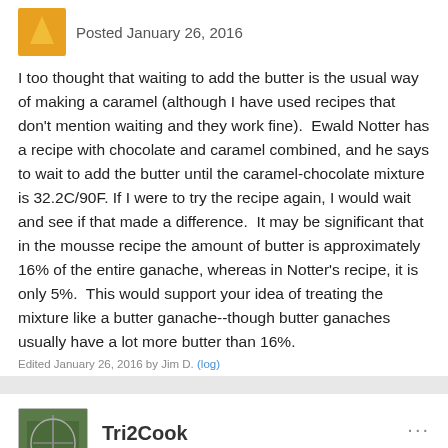Posted January 26, 2016
I too thought that waiting to add the butter is the usual way of making a caramel (although I have used recipes that don't mention waiting and they work fine). Ewald Notter has a recipe with chocolate and caramel combined, and he says to wait to add the butter until the caramel-chocolate mixture is 32.2C/90F. If I were to try the recipe again, I would wait and see if that made a difference. It may be significant that in the mousse recipe the amount of butter is approximately 16% of the entire ganache, whereas in Notter's recipe, it is only 5%. This would support your idea of treating the mixture like a butter ganache--though butter ganaches usually have a lot more butter than 16%.
Edited January 26, 2016 by Jim D. (log)
Tri2Cook
Posted January 26, 2016
Yeah, I wouldn't consider anything I say on this subject scientific information anyway. Molded chocolates and their fillings is not